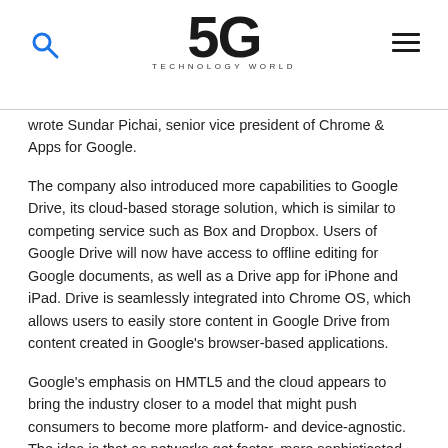5G TECHNOLOGY WORLD
wrote Sundar Pichai, senior vice president of Chrome & Apps for Google.
The company also introduced more capabilities to Google Drive, its cloud-based storage solution, which is similar to competing service such as Box and Dropbox. Users of Google Drive will now have access to offline editing for Google documents, as well as a Drive app for iPhone and iPad. Drive is seamlessly integrated into Chrome OS, which allows users to easily store content in Google Drive from content created in Google's browser-based applications.
Google's emphasis on HMTL5 and the cloud appears to bring the industry closer to a model that might push consumers to become more platform- and device-agnostic. The idea is that as networks get faster, more sophisticated browsers will allow any application to